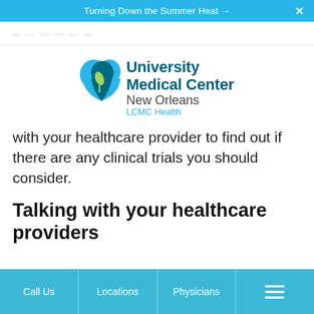Turning Down the Summer Heat →  X
[partially visible header text]
[Figure (logo): University Medical Center New Orleans LCMC Health logo with teal heart/leaf icon]
with your healthcare provider to find out if there are any clinical trials you should consider.
Talking with your healthcare providers
Call Us   Locations   Physicians   [menu icon]